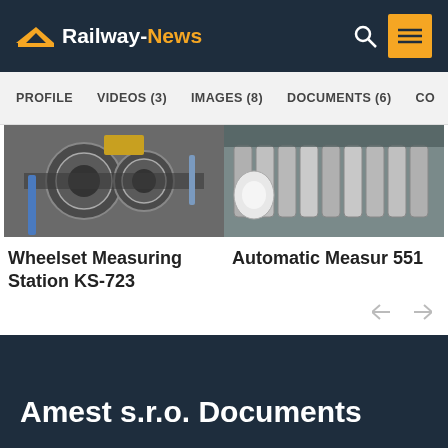Railway-News
PROFILE   VIDEOS (3)   IMAGES (8)   DOCUMENTS (6)   CO
[Figure (photo): Industrial wheelset measuring machinery with metal gears and components]
Wheelset Measuring Station KS-723
[Figure (photo): Automatic measuring station with cylindrical metal rods and machinery]
Automatic Measuring 551
Amest s.r.o. Documents